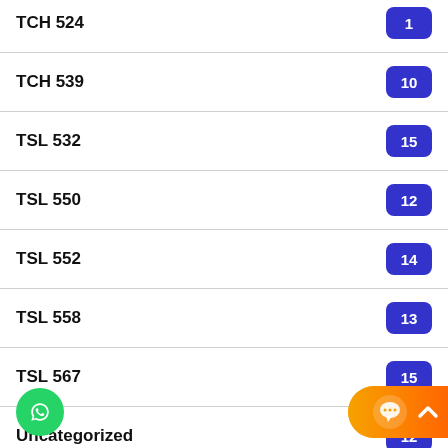TCH 524
TCH 539
TSL 532
TSL 550
TSL 552
TSL 558
TSL 567
Uncategorized
UNV 103
UNV 104
UNV 502